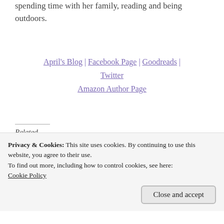spending time with her family, reading and being outdoors.
April's Blog | Facebook Page | Goodreads | Twitter
Amazon Author Page
Related
[Figure (photo): Photo of flowers in a white pitcher with a cup of tea and glasses on a table]
[Figure (photo): Book cover showing a romantic couple embracing]
Privacy & Cookies: This site uses cookies. By continuing to use this website, you agree to their use.
To find out more, including how to control cookies, see here:
Cookie Policy